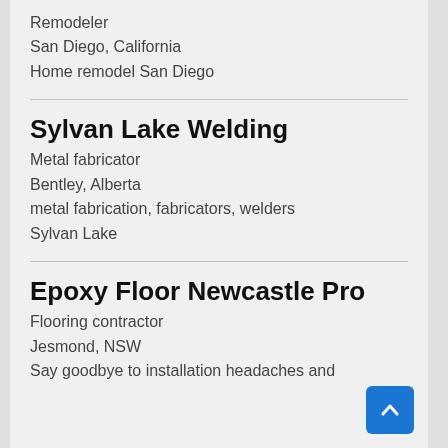Remodeler
San Diego, California
Home remodel San Diego
Sylvan Lake Welding
Metal fabricator
Bentley, Alberta
metal fabrication, fabricators, welders
Sylvan Lake
Epoxy Floor Newcastle Pro
Flooring contractor
Jesmond, NSW
Say goodbye to installation headaches and